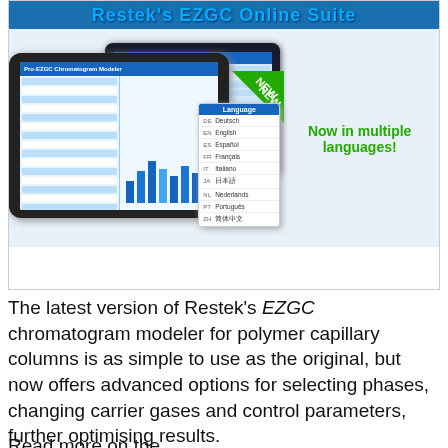Restek's EZGC Online Suite
[Figure (screenshot): Screenshot of Restek's EZGC Online Suite showing a tablet with the Pro-EZGC Chromatogram Modeler interface, a laptop showing EZGC Vial Calculator, and a language selection popup showing options: Deutsch, English, Español, Français, Italiano, 日本語, Nederlands, Português, 简体中文. A green 'NEW' badge is visible. Text reads: Now in multiple languages!]
The latest version of Restek's EZGC chromatogram modeler for polymer capillary columns is as simple to use as the original, but now offers advanced options for selecting phases, changing carrier gases and control parameters, further optimising results.
Read more on the heiminst.com/for the and the